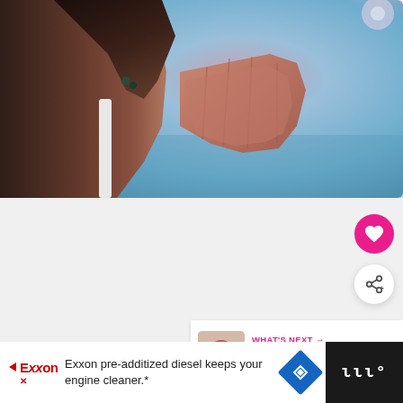[Figure (photo): Woman in profile view with hands pressed together in prayer or namaste gesture, soft bokeh background with pink and teal tones]
[Figure (infographic): Heart (like/favorite) button - pink circle with white heart icon]
[Figure (infographic): Share button - white circle with share icon]
WHAT'S NEXT → Dansa Poem Type
Exxon pre-additized diesel keeps your engine cleaner.*